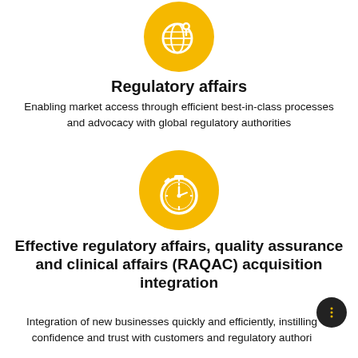[Figure (infographic): Yellow circle with white globe and location pin icon — representing Regulatory affairs]
Regulatory affairs
Enabling market access through efficient best-in-class processes and advocacy with global regulatory authorities
[Figure (infographic): Yellow circle with white stopwatch/timer icon — representing Effective regulatory affairs, quality assurance and clinical affairs (RAQAC) acquisition integration]
Effective regulatory affairs, quality assurance and clinical affairs (RAQAC) acquisition integration
Integration of new businesses quickly and efficiently, instilling confidence and trust with customers and regulatory authori…